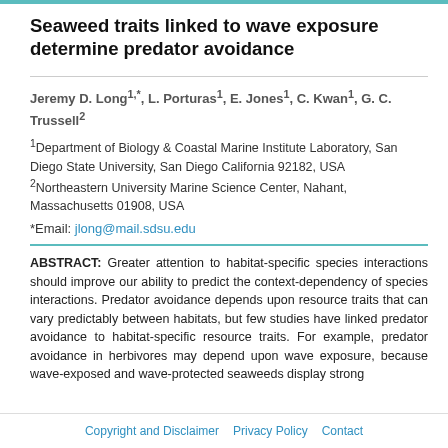Seaweed traits linked to wave exposure determine predator avoidance
Jeremy D. Long1,*, L. Porturas1, E. Jones1, C. Kwan1, G. C. Trussell2
1Department of Biology & Coastal Marine Institute Laboratory, San Diego State University, San Diego California 92182, USA
2Northeastern University Marine Science Center, Nahant, Massachusetts 01908, USA
*Email: jlong@mail.sdsu.edu
ABSTRACT: Greater attention to habitat-specific species interactions should improve our ability to predict the context-dependency of species interactions. Predator avoidance depends upon resource traits that can vary predictably between habitats, but few studies have linked predator avoidance to habitat-specific resource traits. For example, predator avoidance in herbivores may depend upon wave exposure, because wave-exposed and wave-protected seaweeds display strong
Copyright and Disclaimer   Privacy Policy   Contact